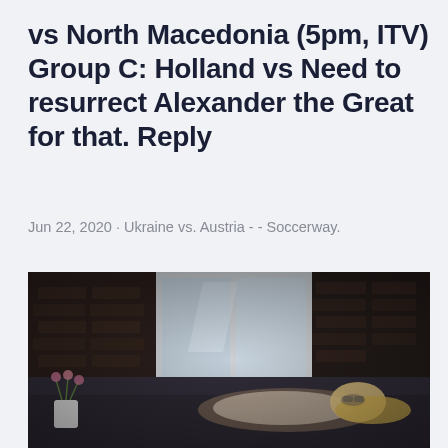vs North Macedonia (5pm, ITV) Group C: Holland vs Need to resurrect Alexander the Great for that. Reply
Jun 22, 2020 · Ukraine vs. Austria - - Soccerway.
[Figure (photo): A person with blonde hair lying on a dark sofa, viewed through/near a window with brick walls on either side. A white pot with pink flowers is visible on the left. The scene is moody and dimly lit.]